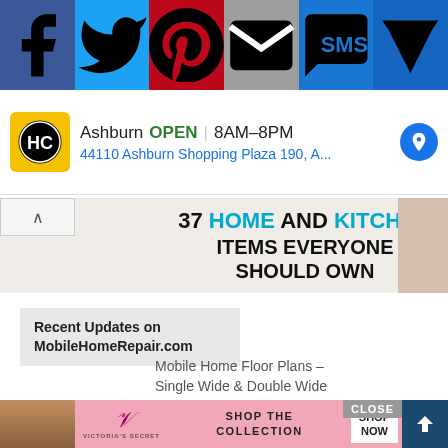[Figure (screenshot): Social sharing bar with Facebook, Twitter, Pinterest, Email, SMS, and Crown icons]
[Figure (screenshot): Local business ad for HC in Ashburn showing OPEN 8AM-8PM and address 44110 Ashburn Shopping Plaza 190, A.]
[Figure (screenshot): Banner ad reading '37 HOME AND KITCHEN ITEMS EVERYONE SHOULD OWN']
Recent Updates on MobileHomeRepair.com
Mobile Home Floor Plans – Single Wide & Double Wide Manufactured Home Plans
[Figure (screenshot): Victoria's Secret banner ad: SHOP THE COLLECTION with SHOP NOW button]
[Figure (screenshot): CLOSE button and scroll-up arrow button]